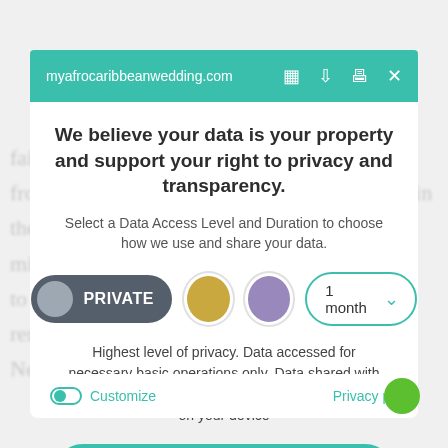myafrocaribbeanwedding.com
We believe your data is your property and support your right to privacy and transparency.
Select a Data Access Level and Duration to choose how we use and share your data.
[Figure (infographic): Privacy level selector showing PRIVATE button (dark grey pill with grey circle), gold circle button, purple circle button, and a 1 month dropdown selector with teal border]
Highest level of privacy. Data accessed for necessary basic operations only. Data shared with 3rd parties to ensure the site is secure and works on your device
Save my preferences
Customize
Privacy po...